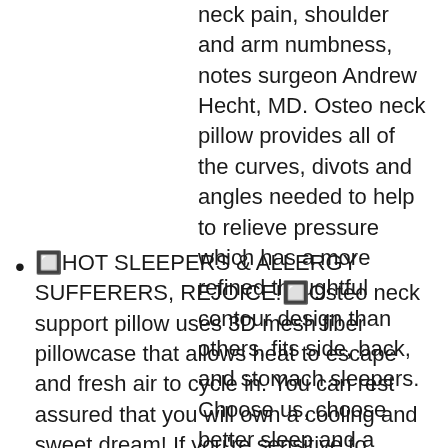neck pain, shoulder and arm numbness, notes surgeon Andrew Hecht, MD. Osteo neck pillow provides all of the curves, divots and angles needed to help to relieve pressure which has a more refined thoughtful contour design than others, fits side, back, and stomach sleepers. Choose us, choose better sleep and a healthier future!
🔲HOT SLEEPERS & ALLERGY SUFFERERS, REJOICE!🔲Osteo neck support pillow uses 3D mesh fiber pillowcase that allows heat to escape and fresh air to cycle in. You can rest assured that you will own a cooling and sweet dream! If you're sensitive to